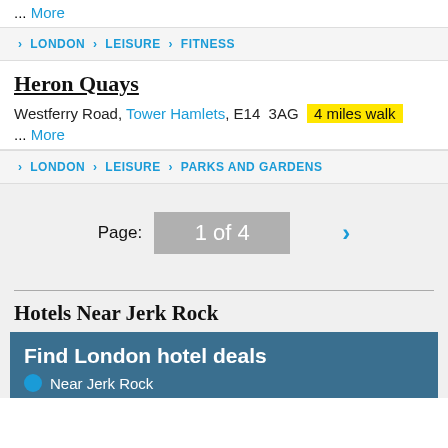... More
LONDON > LEISURE > FITNESS
Heron Quays
Westferry Road, Tower Hamlets, E14 3AG  4 miles walk
... More
LONDON > LEISURE > PARKS AND GARDENS
Page: 1 of 4
Hotels Near Jerk Rock
Find London hotel deals
Near Jerk Rock